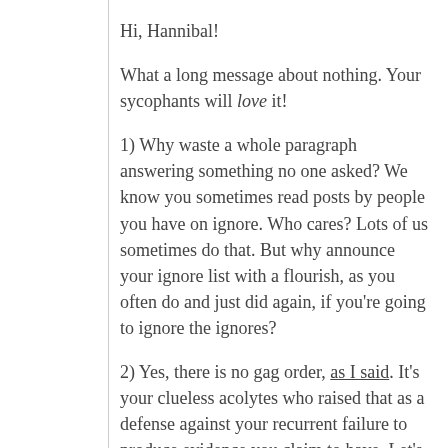Hi, Hannibal!
What a long message about nothing. Your sycophants will love it!
1) Why waste a whole paragraph answering something no one asked? We know you sometimes read posts by people you have on ignore. Who cares? Lots of us sometimes do that. But why announce your ignore list with a flourish, as you often do and just did again, if you're going to ignore the ignores?
2) Yes, there is no gag order, as I said. It's your clueless acolytes who raised that as a defense against your recurrent failure to produce evidence you claim to have. Let's try to get the facts straight, since we